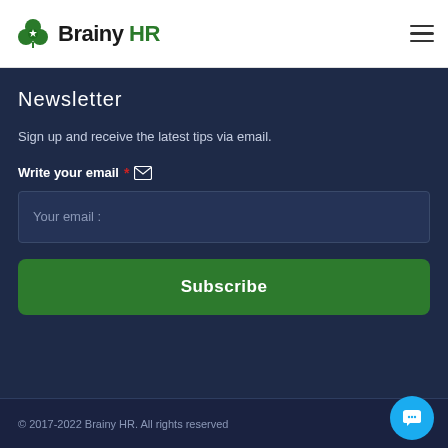BrainyHR
Newsletter
Sign up and receive the latest tips via email.
Write your email *
Your email :
Subscribe
© 2017-2022 Brainy HR. All rights reserved